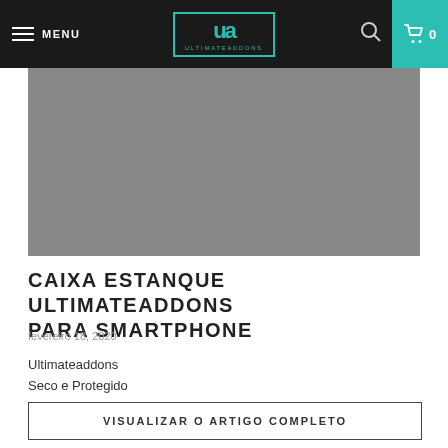MENU | ULTIMATEADDONS | 0
[Figure (photo): Grey placeholder rectangle serving as hero image for the article about caixa estanque ultimateaddons para smartphone]
CAIXA ESTANQUE ULTIMATEADDONS PARA SMARTPHONE
fevereiro 18, 2020
Ultimateaddons
Seco e Protegido
VISUALIZAR O ARTIGO COMPLETO